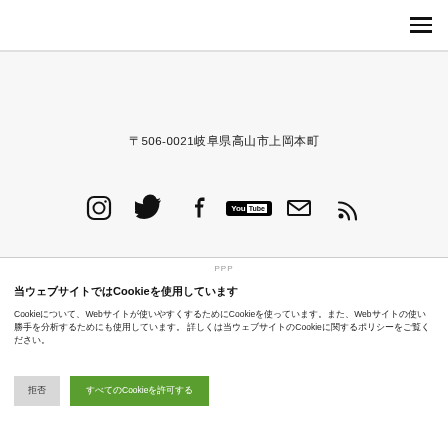Navigation menu (hamburger icon)
〒506-0021岐阜県高山市上岡本町
[Figure (infographic): Row of social media icons: Instagram, Twitter, Facebook, YouTube, Email, RSS]
PPP
当ウェブサイトではCookieを使用しています
CookieについてWebサイトが使いやすくするためにCookieを使っています。また、Webサイトの使い勝手を分析するためにも使用しています。 詳しくは当ウェブサイトのCookieに関するポリシーをご覧ください。
拒否 | すべてのCookieを許可する